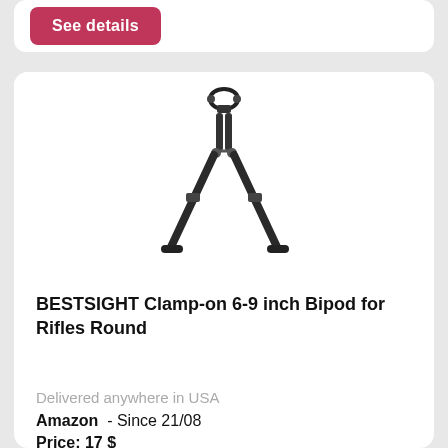See details
[Figure (photo): Product photo of a black BESTSIGHT Clamp-on 6-9 inch Bipod for Rifles, showing the bipod with two adjustable legs spread apart and a clamp at the top, against a white background.]
BESTSIGHT Clamp-on 6-9 inch Bipod for Rifles Round
Delivered anywhere in USA
Amazon  - Since 21/08
Price: 17 $
Product condition: New